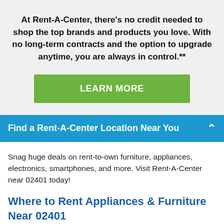At Rent-A-Center, there's no credit needed to shop the top brands and products you love. With no long-term contracts and the option to upgrade anytime, you are always in control.**
[Figure (other): Green 'LEARN MORE' call-to-action button]
Find a Rent-A-Center Location Near You
Snag huge deals on rent-to-own furniture, appliances, electronics, smartphones, and more. Visit Rent-A-Center near 02401 today!
Where to Rent Appliances & Furniture Near 02401
Worried that your budget won't allow you to get the latest electronics and more?